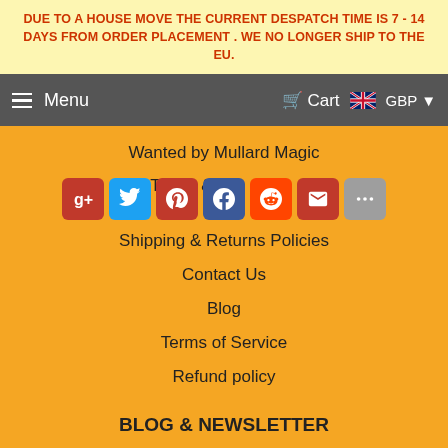DUE TO A HOUSE MOVE THE CURRENT DESPATCH TIME IS 7 - 14 DAYS FROM ORDER PLACEMENT . WE NO LONGER SHIP TO THE EU.
Menu | Cart | GBP
Wanted by Mullard Magic
Terms & Conditions
[Figure (other): Social sharing buttons: Google+, Twitter, Pinterest, Facebook, Reddit, Email, More]
Shipping & Returns Policies
Contact Us
Blog
Terms of Service
Refund policy
BLOG & NEWSLETTER
Email Address  SIGN UP